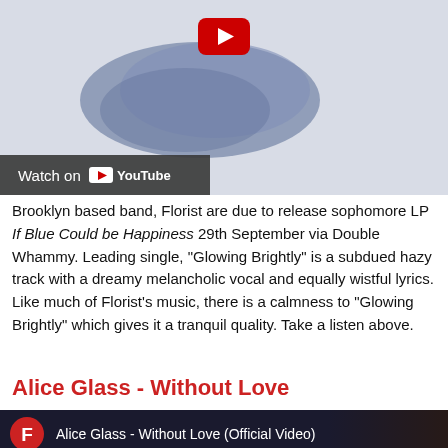[Figure (screenshot): YouTube video thumbnail showing a blue watercolor blob on a light gray background with a red YouTube play button at top center and a dark 'Watch on YouTube' bar at the bottom left.]
Brooklyn based band, Florist are due to release sophomore LP If Blue Could be Happiness 29th September via Double Whammy. Leading single, "Glowing Brightly" is a subdued hazy track with a dreamy melancholic vocal and equally wistful lyrics. Like much of Florist's music, there is a calmness to "Glowing Brightly" which gives it a tranquil quality. Take a listen above.
Alice Glass - Without Love
[Figure (screenshot): YouTube video thumbnail showing dark background with floral elements, a red circle with white letter F (YouTube channel icon), and the text 'Alice Glass - Without Love (Official Video)'.]